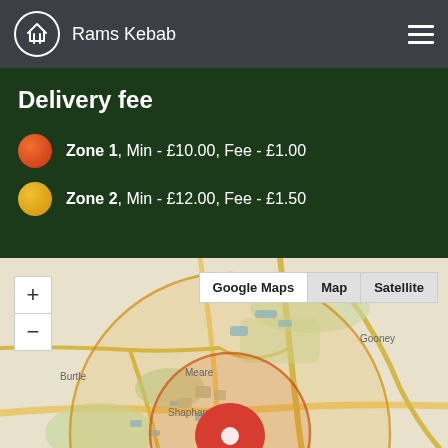Rams Kebab
Delivery fee
Zone 1, Min - £10.00, Fee - £1.00
Zone 2, Min - £12.00, Fee - £1.50
[Figure (map): Interactive map showing delivery zones around a central location (Ashcott/Shapham area). Two circular delivery zones shown in orange/yellow. Red map pin at center. Map labels include Burtle, Gooney, Meare, Moorlinch, Ashcott. Zoom +/- controls on left. Google Maps, Map, Satellite buttons on top right.]
See MENU & Order